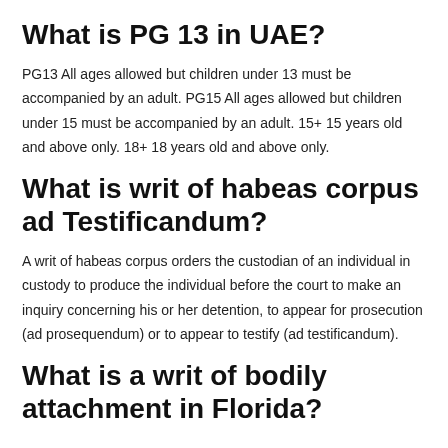What is PG 13 in UAE?
PG13 All ages allowed but children under 13 must be accompanied by an adult. PG15 All ages allowed but children under 15 must be accompanied by an adult. 15+ 15 years old and above only. 18+ 18 years old and above only.
What is writ of habeas corpus ad Testificandum?
A writ of habeas corpus orders the custodian of an individual in custody to produce the individual before the court to make an inquiry concerning his or her detention, to appear for prosecution (ad prosequendum) or to appear to testify (ad testificandum).
What is a writ of bodily attachment in Florida?